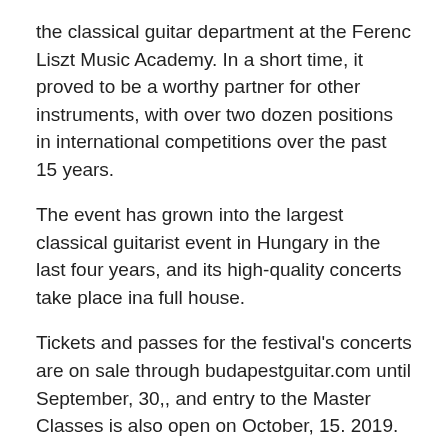the classical guitar department at the Ferenc Liszt Music Academy. In a short time, it proved to be a worthy partner for other instruments, with over two dozen positions in international competitions over the past 15 years.
The event has grown into the largest classical guitarist event in Hungary in the last four years, and its high-quality concerts take place ina full house.
Tickets and passes for the festival's concerts are on sale through budapestguitar.com until September, 30,, and entry to the Master Classes is also open on October, 15. 2019.
Update Aggie Reiter
23/09/2019